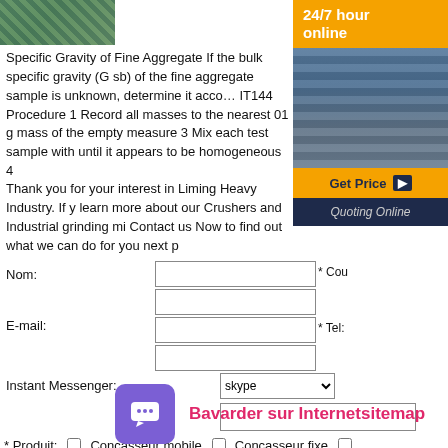[Figure (photo): Small thumbnail image at top left, partially visible construction/industrial equipment]
Specific Gravity of Fine Aggregate If the bulk specific gravity (G sb) of the fine aggregate sample is unknown, determine it according to IT144 Procedure 1 Record all masses to the nearest 01 g mass of the empty measure 3 Mix each test sample with until it appears to be homogeneous 4
[Figure (photo): Side advertisement panel showing industrial crushing equipment with '24/7 hour online' text, 'Get Price' button, and 'Quoting Online' text]
Thank you for your interest in Liming Heavy Industry. If y learn more about our Crushers and Industrial grinding mi Contact us Now to find out what we can do for you next p
Nom:
E-mail:
Instant Messenger:
* Produit:
* Cou
* Tel:
Concasseur mobile  Concasseur fixe
[Figure (illustration): Purple rounded square icon with white chat bubble icon]
Bavarder sur Internetsitemap